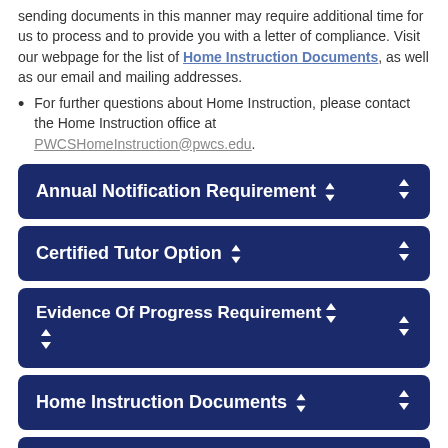sending documents in this manner may require additional time for us to process and to provide you with a letter of compliance. Visit our webpage for the list of Home Instruction Documents, as well as our email and mailing addresses.
For further questions about Home Instruction, please contact the Home Instruction office at PWCSHomeInstruction@pwcs.edu.
Annual Notification Requirement
Certified Tutor Option
Evidence Of Progress Requirement
Home Instruction Documents
Deadline Dates